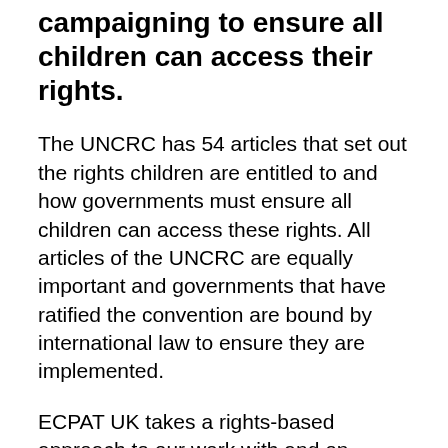campaigning to ensure all children can access their rights.
The UNCRC has 54 articles that set out the rights children are entitled to and how governments must ensure all children can access these rights. All articles of the UNCRC are equally important and governments that have ratified the convention are bound by international law to ensure they are implemented.
ECPAT UK takes a rights-based approach to our work with and on behalf of children, and the UNCRC is central to this. In particular, we strongly advocate for the effective implementation of article 12: respect for the views of the child. This article sets out children's right to 'express their views, feelings and wishes in all matters affecting them, and to have their views considered and taken seriously'